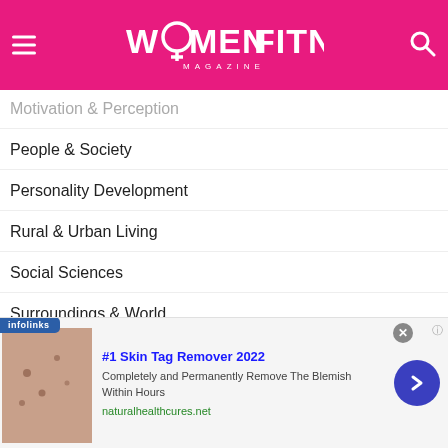Women Fitness Magazine
Motivation & Perception
People & Society
Personality Development
Rural & Urban Living
Social Sciences
Surroundings & World
[Figure (illustration): Gold medal with red ribbon]
[Figure (advertisement): Ad banner: #1 Skin Tag Remover 2022 - naturalhealthcures.net via infolinks]